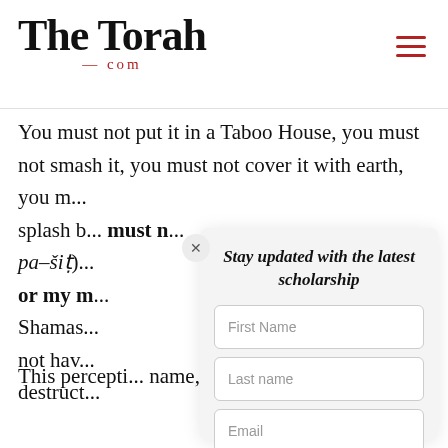The Torah .com
You must not put it in a Taboo House, you must not smash it, you must not cover it with earth, you m... splash b... must n... pa–šiṭ)... or my m... Shamas... not hav... destruct...
This percepti... name, and th... Deuteronomy...
Stay updated with the latest scholarship
First Name
Last name
Email
Subscribe